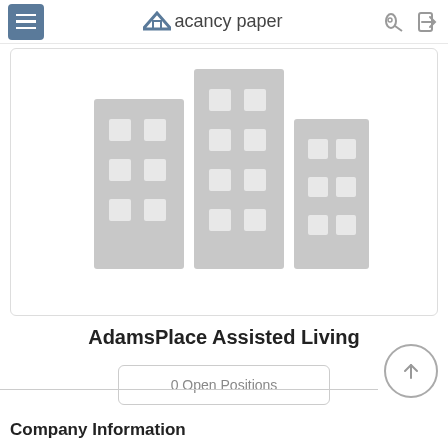Vacancy paper
[Figure (illustration): Building/apartment complex placeholder graphic with grey building icons on white background]
AdamsPlace Assisted Living
0 Open Positions
Company Information